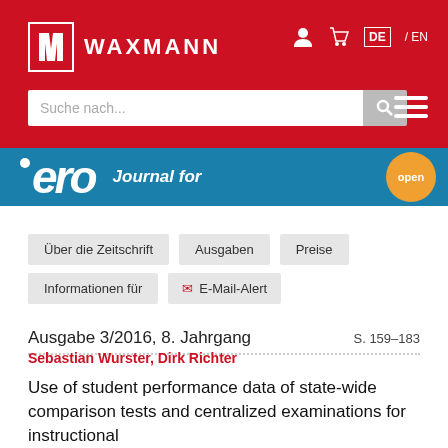WAXMANN
[Figure (screenshot): Waxmann publisher website header with red background, logo, search bar, and JERO journal banner]
Über die Zeitschrift | Ausgaben | Preise | Informationen für | E-Mail-Alert
Ausgabe 3/2016, 8. Jahrgang S. 159–183
Sebastian Wurster, Dirk Richter
Use of student performance data of state-wide comparison tests and centralized examinations for instructional